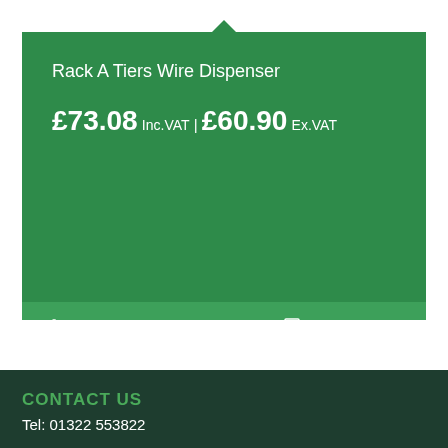Rack A Tiers Wire Dispenser
£73.08 Inc.VAT | £60.90 Ex.VAT
Add to basket
Show Details
CONTACT US
Tel: 01322 553822